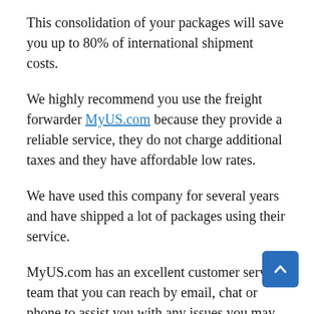This consolidation of your packages will save you up to 80% of international shipment costs.
We highly recommend you use the freight forwarder MyUS.com because they provide a reliable service, they do not charge additional taxes and they have affordable low rates.
We have used this company for several years and have shipped a lot of packages using their service.
MyUS.com has an excellent customer service team that you can reach by email, chat or phone to assist you with any issues you may encounter.
This is the process you can follow if you do no in the United States and want purchases you make